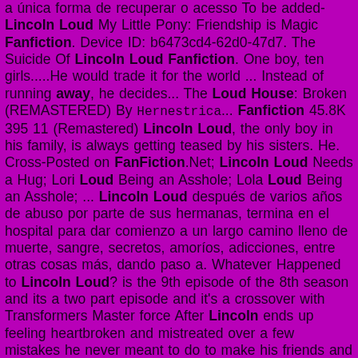a única forma de recuperar o acesso To be added- Lincoln Loud My Little Pony: Friendship is Magic Fanfiction. Device ID: b6473cd4-62d0-47d7. The Suicide Of Lincoln Loud Fanfiction. One boy, ten girls.....He would trade it for the world ... Instead of running away, he decides... The Loud House: Broken (REMASTERED) By Hernestrica... Fanfiction 45.8K 395 11 (Remastered) Lincoln Loud, the only boy in his family, is always getting teased by his sisters. He. Cross-Posted on FanFiction.Net; Lincoln Loud Needs a Hug; Lori Loud Being an Asshole; Lola Loud Being an Asshole; ... Lincoln Loud después de varios años de abuso por parte de sus hermanas, termina en el hospital para dar comienzo a un largo camino lleno de muerte, sangre, secretos, amoríos, adicciones, entre otras cosas más, dando paso a. Whatever Happened to Lincoln Loud? is the 9th episode of the 8th season and its a two part episode and it's a crossover with Transformers Master force After Lincoln ends up feeling heartbroken and mistreated over a few mistakes he never meant to do to make his friends and family get so mad at him, he decides to run away from home, feeling like he was a bad person from the start he Teams Up. The life at the Loud house from either Luna or Luan's perspective, and how the two sisters get along b Rider 13:21, January 8, 2015 (UTC)) By: Jimmy b Lincoln loud fanfiction I don't own anything of HISHE, I'm just doing